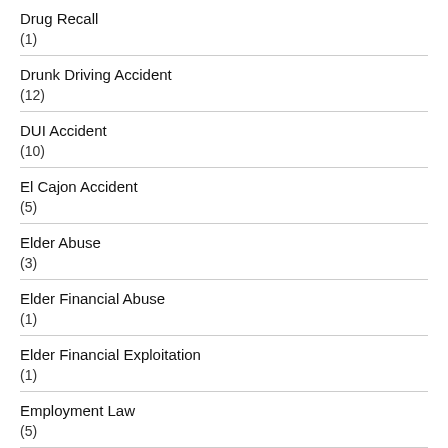Drug Recall
(1)
Drunk Driving Accident
(12)
DUI Accident
(10)
El Cajon Accident
(5)
Elder Abuse
(3)
Elder Financial Abuse
(1)
Elder Financial Exploitation
(1)
Employment Law
(5)
Encinitas Accident